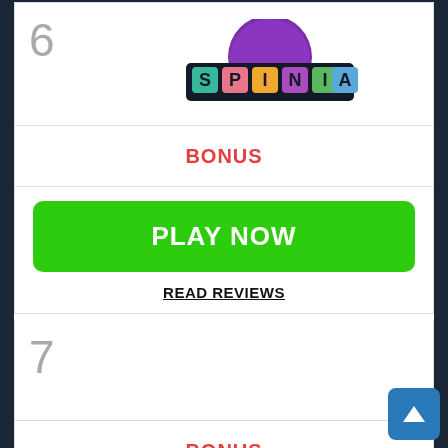[Figure (logo): Spinia casino logo with purple circle background and colorful tile letters spelling SPINIA on dark banner]
BONUS
PLAY NOW
READ REVIEWS
7
BONUS
[Figure (other): Scroll to top arrow button, blue square with white triangle/arrow]